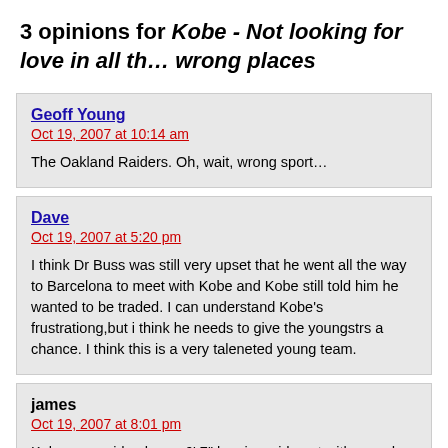3 opinions for Kobe - Not looking for love in all the wrong places
Geoff Young
Oct 19, 2007 at 10:14 am

The Oakland Raiders. Oh, wait, wrong sport…
Dave
Oct 19, 2007 at 5:20 pm

I think Dr Buss was still very upset that he went all the way to Barcelona to meet with Kobe and Kobe still told him he wanted to be traded. I can understand Kobe's frustrationg,but i think he needs to give the youngstrs a chance. I think this is a very taleneted young team.
james
Oct 19, 2007 at 8:01 pm

Kobe as a raider. hmm. 6' 7" leaping wide out with speed. just thinking.